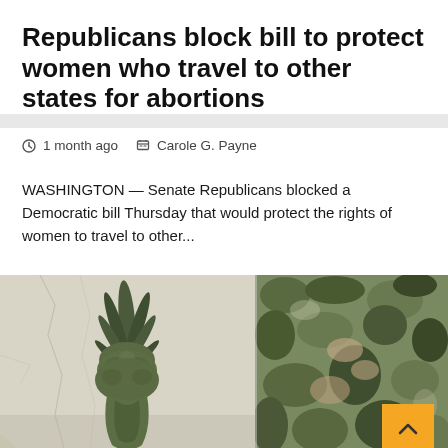Republicans block bill to protect women who travel to other states for abortions
1 month ago   Carole G. Payne
WASHINGTON — Senate Republicans blocked a Democratic bill Thursday that would protect the rights of women to travel to other...
[Figure (photo): Split image: left side shows a pineapple top against a light textured wall, right side shows a person wearing camouflage clothing. A yellow back-to-top button with a caret/chevron up icon is overlaid in the bottom right corner.]